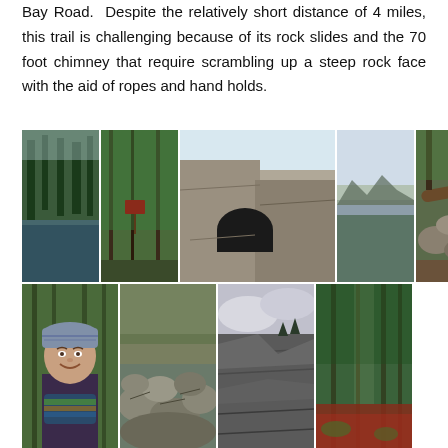Bay Road.  Despite the relatively short distance of 4 miles, this trail is challenging because of its rock slides and the 70 foot chimney that require scrambling up a steep rock face with the aid of ropes and hand holds.
[Figure (photo): A collage of 9 trail photos: pond with forest reflection, forest trail with sign, large rock chimney/cave, panoramic bay view, rocky hillside with fallen log; then hiker woman with knit hat and colorful scarf, boulder field trail, rocky slide slope, and conifer forest with red ground cover.]